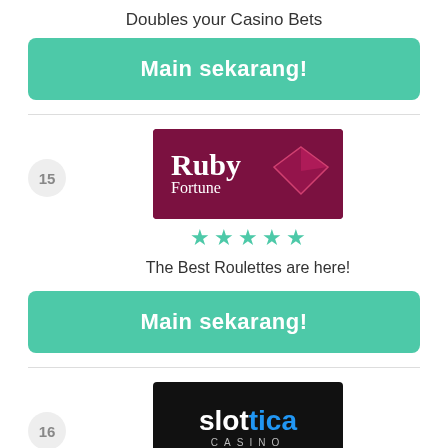Doubles your Casino Bets
[Figure (other): Green button: Main sekarang!]
[Figure (other): Ruby Fortune casino logo - dark red background with Ruby Fortune text]
[Figure (other): 5 green stars rating]
The Best Roulettes are here!
[Figure (other): Green button: Main sekarang!]
[Figure (other): Slottica Casino logo - black background with blue and white text]
[Figure (other): 5 green stars rating (partial view)]